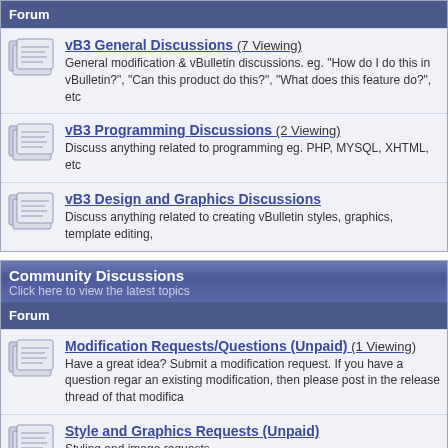Forum
vB3 General Discussions (7 Viewing) - General modification & vBulletin discussions. eg. "How do I do this in vBulletin?", "Can this product do this?", "What does this feature do?", etc
vB3 Programming Discussions (2 Viewing) - Discuss anything related to programming eg. PHP, MYSQL, XHTML, etc
vB3 Design and Graphics Discussions - Discuss anything related to creating vBulletin styles, graphics, template editing,
Community Discussions - Click here to view the latest topics
Forum
Modification Requests/Questions (Unpaid) (1 Viewing) - Have a great idea? Submit a modification request. If you have a question regarding an existing modification, then please post in the release thread of that modification.
Style and Graphics Requests (Unpaid) - Styling and image requests.
Forum and Server Management (1 Viewing) - Discuss technical forum and server management issues and solutions here. Please read the announcement before posting
Community Central - Click here to view the latest topics
Forum